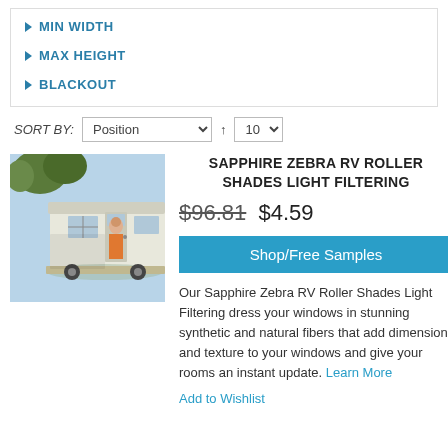MIN WIDTH
MAX HEIGHT
BLACKOUT
SORT BY: Position ↑ 10
SAPPHIRE ZEBRA RV ROLLER SHADES LIGHT FILTERING
$96.81 $4.59
Shop/Free Samples
Our Sapphire Zebra RV Roller Shades Light Filtering dress your windows in stunning synthetic and natural fibers that add dimension and texture to your windows and give your rooms an instant update. Learn More
Add to Wishlist